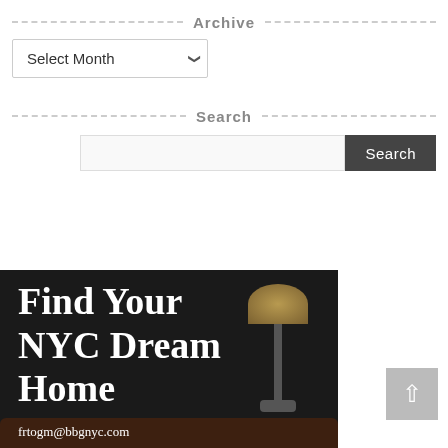Archive
Select Month
Search
Search
[Figure (photo): Real estate advertisement banner with dark interior room background showing a floor lamp and leather sofa. Text reads 'Find Your NYC Dream Home' and 'frtogm@bbgnyc.com' at bottom.]